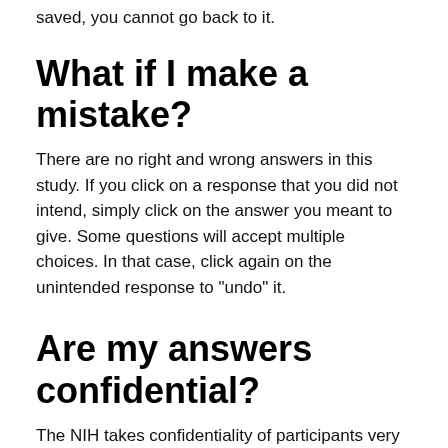saved, you cannot go back to it.
What if I make a mistake?
There are no right and wrong answers in this study. If you click on a response that you did not intend, simply click on the answer you meant to give. Some questions will accept multiple choices. In that case, click again on the unintended response to "undo" it.
Are my answers confidential?
The NIH takes confidentiality of participants very seriously. Your answers are confidential to the extent